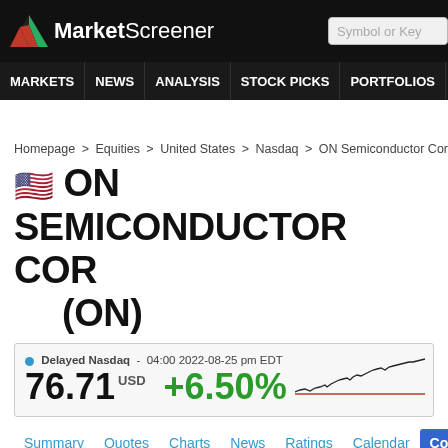MarketScreener
MARKETS  NEWS  ANALYSIS  STOCK PICKS  PORTFOLIOS  WATCHLI
Homepage > Equities > United States > Nasdaq > ON Semiconductor Corporation
🇺🇸 ON SEMICONDUCTOR COR (ON)
● Delayed Nasdaq - 04:00 2022-08-25 pm EDT  76.71 USD  +6.50%
[Figure (line-chart): Mini sparkline chart showing stock price trend, with a red baseline and a black price line trending upward]
Summary  Quotes  Charts  News  Ratings  Calendar  Company